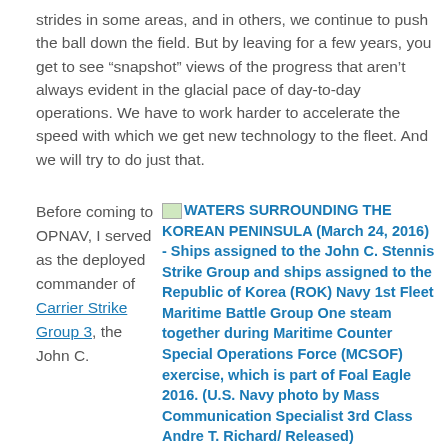strides in some areas, and in others, we continue to push the ball down the field. But by leaving for a few years, you get to see “snapshot” views of the progress that aren’t always evident in the glacial pace of day-to-day operations. We have to work harder to accelerate the speed with which we get new technology to the fleet. And we will try to do just that.
Before coming to OPNAV, I served as the deployed commander of Carrier Strike Group 3, the John C.
[Figure (photo): Image placeholder followed by blue bold caption text: WATERS SURROUNDING THE KOREAN PENINSULA (March 24, 2016) - Ships assigned to the John C. Stennis Strike Group and ships assigned to the Republic of Korea (ROK) Navy 1st Fleet Maritime Battle Group One steam together during Maritime Counter Special Operations Force (MCSOF) exercise, which is part of Foal Eagle 2016. (U.S. Navy photo by Mass Communication Specialist 3rd Class Andre T. Richard/ Released)]
WATERS SURROUNDING THE KOREAN PENINSULA (March 24, 2016) – Ships assigned to the John C. Stennis Strike Group and ships assigned to the Republic of Korea (ROK) Navy 1st Fleet Maritime Battle Group One